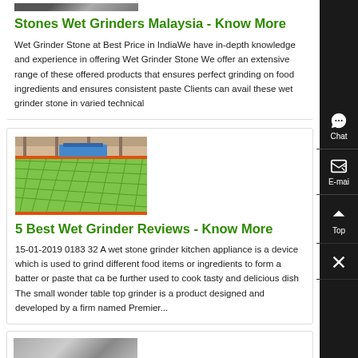[Figure (photo): Partial top image of stone/grinder]
Stones Wet Grinders Malaysia - Know More
Wet Grinder Stone at Best Price in IndiaWe have in-depth knowledge and experience in offering Wet Grinder Stone We offer an extensive range of these offered products that ensures perfect grinding on food ingredients and ensures consistent paste Clients can avail these wet grinder stone in varied technical
[Figure (photo): Industrial factory floor with green grid pattern]
5 Best Wet Grinder Reviews - Know More
15-01-2019 0183 32 A wet stone grinder kitchen appliance is a device which is used to grind different food items or ingredients to form a batter or paste that ca be further used to cook tasty and delicious dish The small wonder table top grinder is a product designed and developed by a firm named Premier...
[Figure (photo): Partial bottom image of machinery]